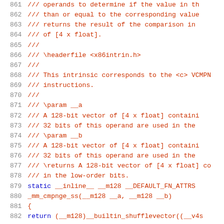Source code listing showing lines 861-882 of a C/C++ header file with documentation comments and function definition for _mm_cmpnge_ss
861  ///    operands to determine if the value in th
862  ///    than or equal to the corresponding value
863  ///    returns the result of the comparison in
864  ///    of [4 x float].
865  ///
866  /// \headerfile <x86intrin.h>
867  ///
868  /// This intrinsic corresponds to the <c> VCMPN
869  ///    instructions.
870  ///
871  /// \param __a
872  ///    A 128-bit vector of [4 x float] containi
873  ///    32 bits of this operand are used in the
874  /// \param __b
875  ///    A 128-bit vector of [4 x float] containi
876  ///    32 bits of this operand are used in the
877  /// \returns A 128-bit vector of [4 x float] co
878  ///    in the low-order bits.
879  static __inline__ __m128 __DEFAULT_FN_ATTRS
880  _mm_cmpnge_ss(__m128 __a, __m128 __b)
881  {
882    return (__m128)__builtin_shufflevector((__v4s